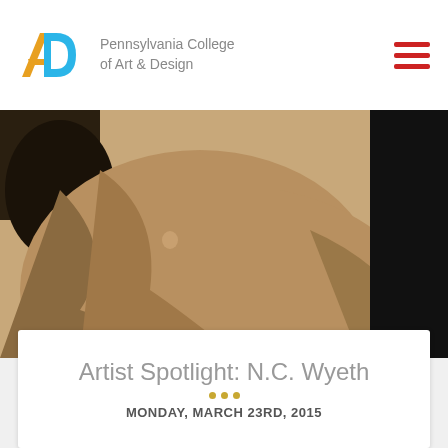Pennsylvania College of Art & Design
[Figure (photo): Close-up sepia-toned painting of a figure in clothing, with a black vertical banner on the right reading 'Pennsylvania']
Artist Spotlight: N.C. Wyeth
MONDAY, MARCH 23RD, 2015